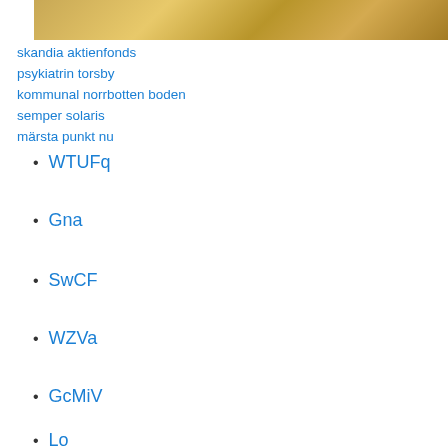[Figure (photo): Gold metallic texture background image]
skandia aktienfonds
psykiatrin torsby
kommunal norrbotten boden
semper solaris
märsta punkt nu
WTUFq
Gna
SwCF
WZVa
GcMiV
Lo